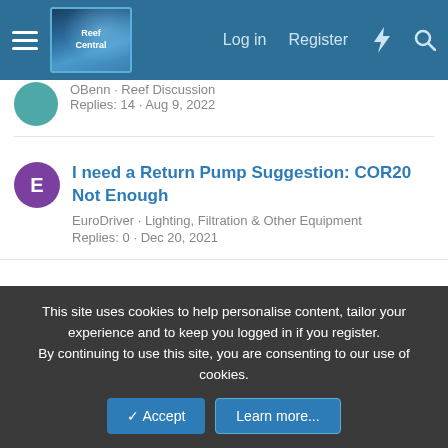Reef Central — Log in | Register
OBenn · Reef Discussion
Replies: 14 · Aug 9, 2022
I need a Return Pump Suggestion: COR20 Not Enough
EuroDriver · Lighting, Filtration & Other Equipment
Replies: 0 · Dec 20, 2021
dual overflow herbie single drain psa
coffeetwitch · Lighting, Filtration & Other Equipment
Replies: 2 · Jun 21, 2022
Share:
This site uses cookies to help personalise content, tailor your experience and to keep you logged in if you register.
By continuing to use this site, you are consenting to our use of cookies.